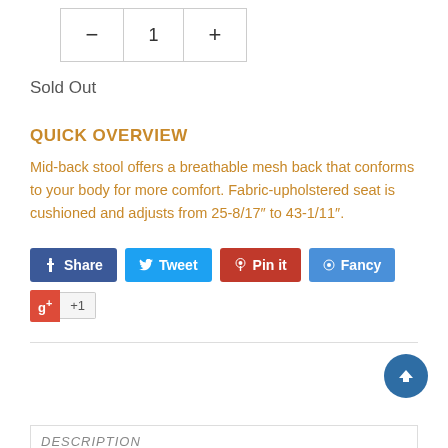[Figure (other): Quantity selector with minus button, value 1, and plus button]
Sold Out
QUICK OVERVIEW
Mid-back stool offers a breathable mesh back that conforms to your body for more comfort. Fabric-upholstered seat is cushioned and adjusts from 25-8/17" to 43-1/11".
[Figure (other): Social sharing buttons: Share (Facebook), Tweet (Twitter), Pin it (Pinterest), Fancy, and Google +1]
[Figure (other): Scroll to top button (circle with up arrow)]
DESCRIPTION